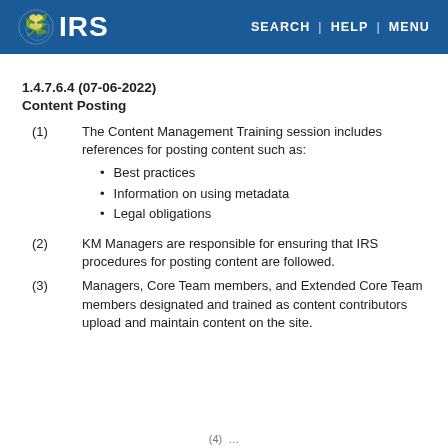IRS SEARCH | HELP | MENU
1.4.7.6.4 (07-06-2022)
Content Posting
(1) The Content Management Training session includes references for posting content such as:
Best practices
Information on using metadata
Legal obligations
(2) KM Managers are responsible for ensuring that IRS procedures for posting content are followed.
(3) Managers, Core Team members, and Extended Core Team members designated and trained as content contributors upload and maintain content on the site.